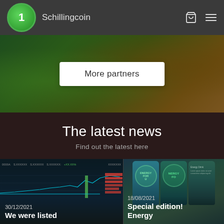Schillingcoin
More partners
The latest news
Find out the latest here
[Figure (screenshot): Trading chart screenshot showing candlestick/line chart data for Schillingcoin listing]
30/12/2021
We were listed
[Figure (photo): Three energy drink cans with teal/green color scheme]
18/08/2021
Special edition! Energy